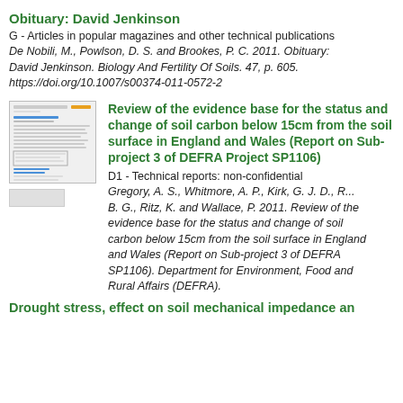Obituary: David Jenkinson
G - Articles in popular magazines and other technical publications
De Nobili, M., Powlson, D. S. and Brookes, P. C. 2011. Obituary: David Jenkinson. Biology And Fertility Of Soils. 47, p. 605. https://doi.org/10.1007/s00374-011-0572-2
[Figure (other): Thumbnail image of a document page showing a report preview]
Review of the evidence base for the status and change of soil carbon below 15cm from the soil surface in England and Wales (Report on Sub-project 3 of DEFRA Project SP1106)
D1 - Technical reports: non-confidential
Gregory, A. S., Whitmore, A. P., Kirk, G. J. D., R... B. G., Ritz, K. and Wallace, P. 2011. Review of the evidence base for the status and change of soil carbon below 15cm from the soil surface in England and Wales (Report on Sub-project 3 of DEFRA SP1106). Department for Environment, Food and Rural Affairs (DEFRA).
Drought stress, effect on soil mechanical impedance and...